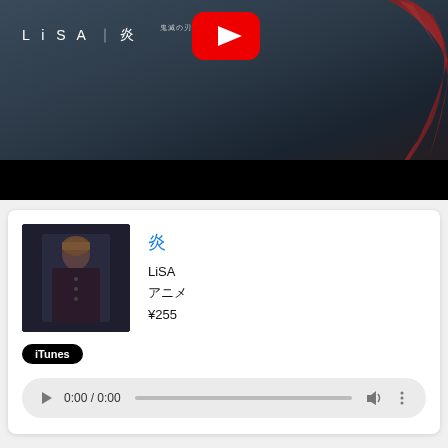[Figure (screenshot): YouTube video thumbnail showing LiSA 炎 (Homura) music video. Dark moody background with red hair visible on right side. White YouTube play button icon at top center. Text 'LiSA | 炎' in white on upper left.]
[Figure (screenshot): iTunes music listing card showing album art of LiSA in black jacket, song title 炎 in blue, artist LiSA, genre アニメ, price ¥255, iTunes badge, and audio player controls showing 0:00 / 0:00]